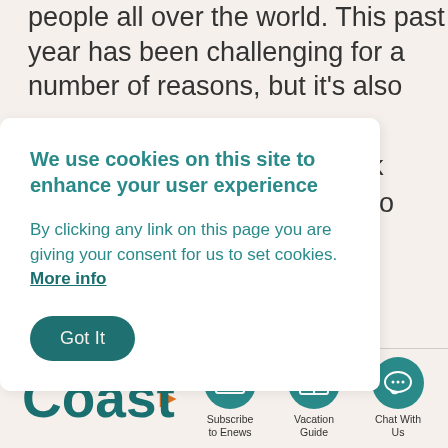people all over the world. This past year has been challenging for a number of reasons, but it's also
e took bility to ge have
We use cookies on this site to enhance your user experience

By clicking any link on this page you are giving your consent for us to set cookies. More info
Got It
to n
the Ala Coast
[Figure (infographic): Three circular teal icon buttons: Subscribe to Enews (envelope icon), Vacation Guide (book icon), Chat With Us (speech bubble icon), with an orange arrow pointing right]
Subscribe to Enews
Vacation Guide
Chat With Us